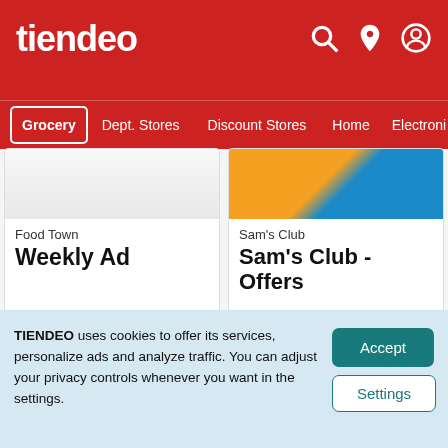tiendeo
Grocery | Dept. Stores | Discount Stores | Home | Electronic
Food Town
Weekly Ad
Expires tomorrow
View Deals!
Sam's Club
Sam's Club - Offers
Expires today
View Deals!
Advertising
TIENDEO uses cookies to offer its services, personalize ads and analyze traffic. You can adjust your privacy controls whenever you want in the settings.